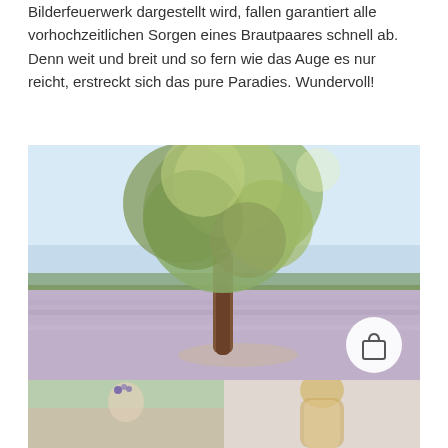Bilderfeuerwerk dargestellt wird, fallen garantiert alle vorhochzeitlichen Sorgen eines Brautpaares schnell ab. Denn weit und breit und so fern wie das Auge es nur reicht, erstreckt sich das pure Paradies. Wundervoll!
[Figure (photo): A large solitary tree with a wide green canopy growing in a lavender field in Provence, France. Clear blue sky in background, rows of purple lavender visible at the base.]
[Figure (photo): Bottom-left thumbnail: woman with floral headpiece in a lavender field.]
[Figure (photo): Bottom-right thumbnail: woman with long blonde hair, seen from behind.]